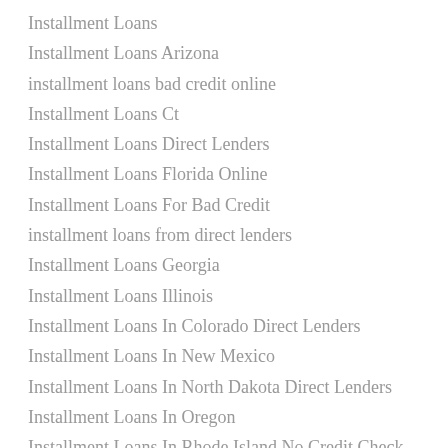Installment Loans
Installment Loans Arizona
installment loans bad credit online
Installment Loans Ct
Installment Loans Direct Lenders
Installment Loans Florida Online
Installment Loans For Bad Credit
installment loans from direct lenders
Installment Loans Georgia
Installment Loans Illinois
Installment Loans In Colorado Direct Lenders
Installment Loans In New Mexico
Installment Loans In North Dakota Direct Lenders
Installment Loans In Oregon
Installment Loans In Rhode Island No Credit Check
Installment Loans In South Carolina Direct Lenders
Installment Loans Indiana Online
installment loans instant approval